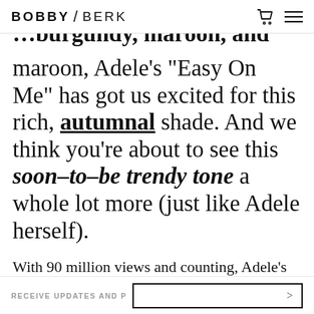BOBBY / BERK
...burgundy, maroon, Adele’s “Easy On Me” has got us excited for this rich, autumnal shade. And we think you’re about to see this soon-to-be trendy tone a whole lot more (just like Adele herself).
With 90 million views and counting, Adele’s newest video “Easy On Me” got everyone talking about it everywhere last
RECEIVE UPDATES AND P